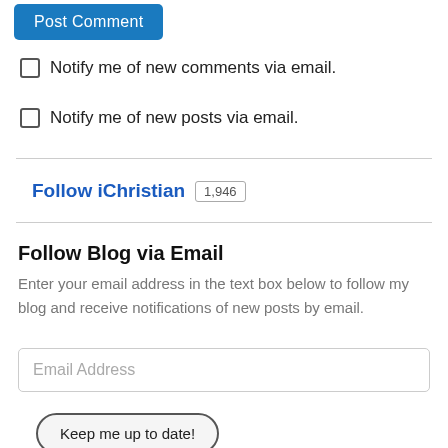[Figure (other): Blue 'Post Comment' button at top of page]
Notify me of new comments via email.
Notify me of new posts via email.
Follow iChristian 1,946
Follow Blog via Email
Enter your email address in the text box below to follow my blog and receive notifications of new posts by email.
[Figure (other): Email Address input text box]
[Figure (other): Keep me up to date! button]